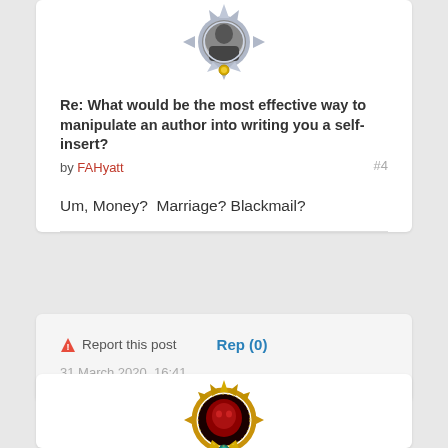[Figure (illustration): Ornate silver frame avatar with a person's photo, decorative League of Legends style border]
Re: What would be the most effective way to manipulate an author into writing you a self-insert?
by FAHyatt
#4
Um, Money?  Marriage? Blackmail?
Report this post
Rep (0)
31 March 2020, 16:41
[Figure (illustration): Ornate gold frame avatar with dark red face/character, League of Legends style border with teal gem]